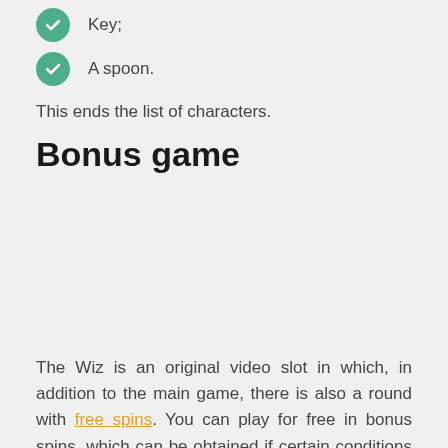Key;
A spoon.
This ends the list of characters.
Bonus game
The Wiz is an original video slot in which, in addition to the main game, there is also a round with free spins. You can play for free in bonus spins, which can be obtained if certain conditions are met. To activate the round you need